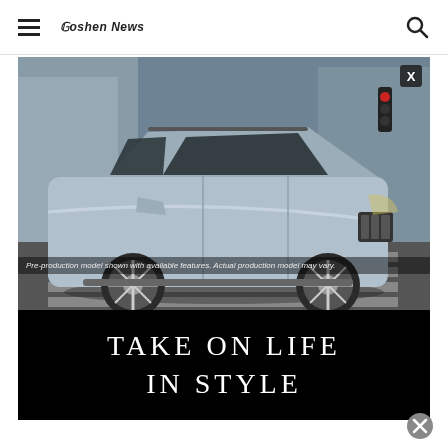Goshen News
[Figure (photo): Silver Infiniti QX60 SUV driving on a city street crosswalk, urban background with buildings. Pre-production model shown with available features. Actual production model may vary.]
Pre-production model shown with available features. Actual production model may vary.
TAKE ON LIFE IN STYLE